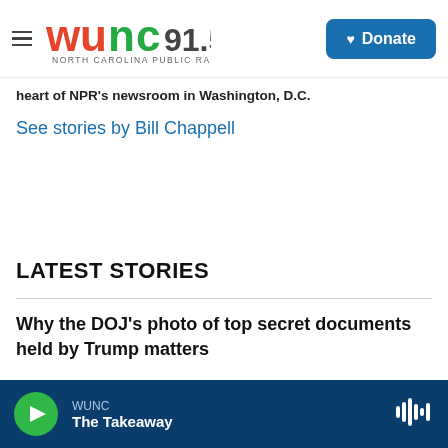WUNC 91.5 North Carolina Public Radio — Donate
heart of NPR's newsroom in Washington, D.C.
See stories by Bill Chappell
LATEST STORIES
Why the DOJ's photo of top secret documents held by Trump matters
WUNC The Takeaway